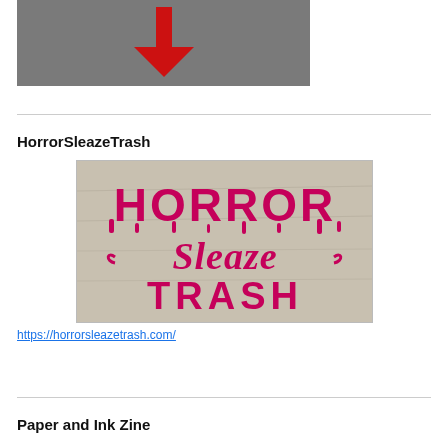[Figure (illustration): Gray background image with a red downward-pointing arrow centered in it]
HorrorSleazeTrash
[Figure (photo): Horror Sleaze Trash logo — dripping horror-style lettering in crimson/magenta on a concrete background reading HORROR Sleaze TRASH]
https://horrorsleazetrash.com/
Paper and Ink Zine